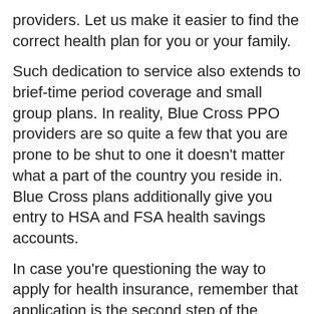providers. Let us make it easier to find the correct health plan for you or your family.
Such dedication to service also extends to brief-time period coverage and small group plans. In reality, Blue Cross PPO providers are so quite a few that you are prone to be shut to one it doesn't matter what a part of the country you reside in. Blue Cross plans additionally give you entry to HSA and FSA health savings accounts.
In case you're questioning the way to apply for health insurance, remember that application is the second step of the process – after you have researched totally different policies and compared costs and benefits. A plan for New Yorkers who don't qualify for Medicaid or Little one Health Plus, with a $0 or $20 monthly premium and no deductible. Health insurance coverage is a type of insurance protection that pays for medical and surgical expenses ...
READ MORE